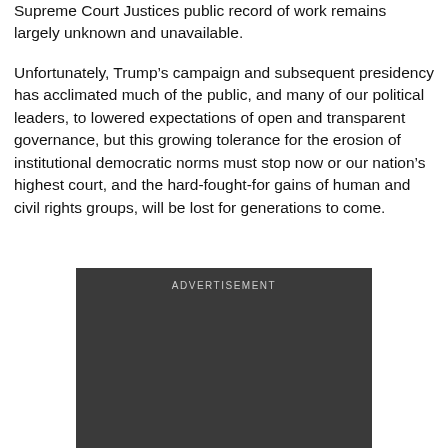Supreme Court Justices public record of work remains largely unknown and unavailable.
Unfortunately, Trump’s campaign and subsequent presidency has acclimated much of the public, and many of our political leaders, to lowered expectations of open and transparent governance, but this growing tolerance for the erosion of institutional democratic norms must stop now or our nation’s highest court, and the hard-fought-for gains of human and civil rights groups, will be lost for generations to come.
[Figure (other): Advertisement placeholder box with dark background and 'ADVERTISEMENT' label at top]